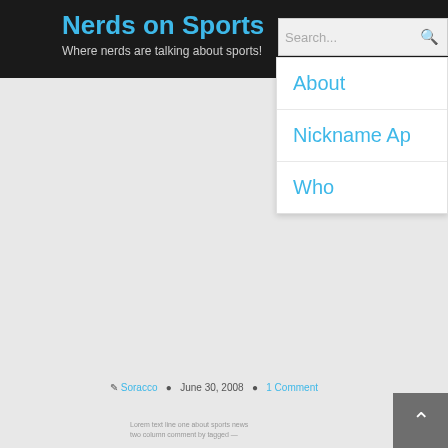Nerds on Sports — Where nerds are talking about sports!
Search...
About
Nickname Ap
Who
Soracco  June 30, 2008  1 Comment